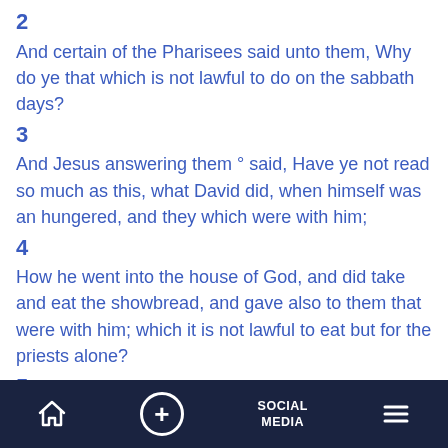2
And certain of the Pharisees said unto them, Why do ye that which is not lawful to do on the sabbath days?
3
And Jesus answering them ° said, Have ye not read so much as this, what David did, when himself was an hungered, and they which were with him;
4
How he went into the house of God, and did take and eat the showbread, and gave also to them that were with him; which it is not lawful to eat but for the priests alone?
5
And he said unto them, That the Son of man is Lord also of the sabbath.
6
And it came to pass also on another sabbath, that he
Home | + | SOCIAL MEDIA | Menu